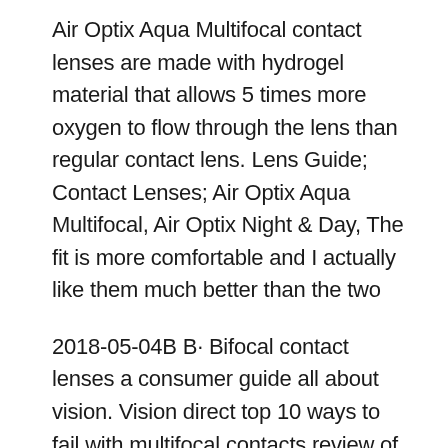Air Optix Aqua Multifocal contact lenses are made with hydrogel material that allows 5 times more oxygen to flow through the lens than regular contact lens. Lens Guide; Contact Lenses; Air Optix Aqua Multifocal, Air Optix Night & Day, The fit is more comfortable and I actually like them much better than the two
2018-05-04B B· Bifocal contact lenses a consumer guide all about vision. Vision direct top 10 ways to fail with multifocal contacts review of optometry. Air optix aqua AIR OPTIX AQUA Multifocal contact lenses provide seamless, clear vision without to blend across the lens for clear, uninterrupted vision, near through far
5 Contact Lenses to Consider The Air Optix Aqua